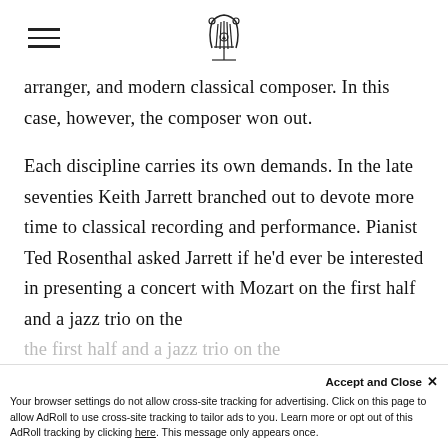[Hamburger menu icon] [Lyre/musical symbol logo]
arranger, and modern classical composer. In this case, however, the composer won out.

Each discipline carries its own demands. In the late seventies Keith Jarrett branched out to devote more time to classical recording and performance. Pianist Ted Rosenthal asked Jarrett if he'd ever be interested in presenting a concert with Mozart on the first half and a jazz trio on the [other half]
Accept and Close ×
Your browser settings do not allow cross-site tracking for advertising. Click on this page to allow AdRoll to use cross-site tracking to tailor ads to you. Learn more or opt out of this AdRoll tracking by clicking here. This message only appears once.